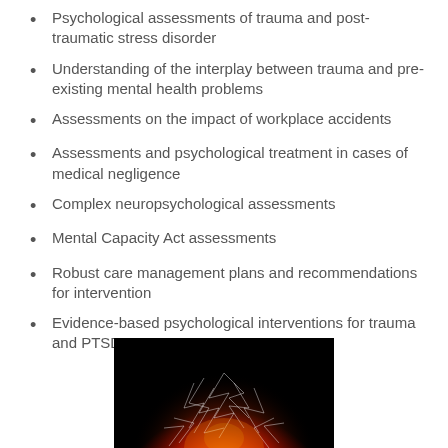Psychological assessments of trauma and post-traumatic stress disorder
Understanding of the interplay between trauma and pre-existing mental health problems
Assessments on the impact of workplace accidents
Assessments and psychological treatment in cases of medical negligence
Complex neuropsychological assessments
Mental Capacity Act assessments
Robust care management plans and recommendations for intervention
Evidence-based psychological interventions for trauma and PTSD
[Figure (photo): Partial view of a red glowing brain-like or neural sphere with white lightning/network patterns on a black background, cropped at the bottom of the page]